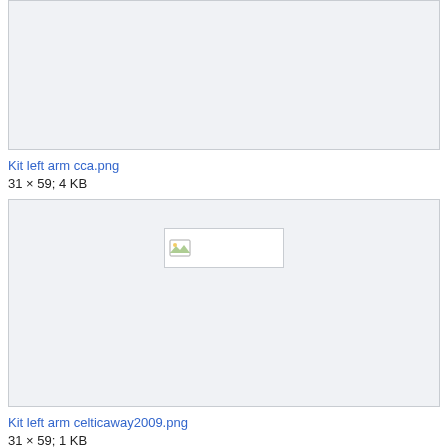[Figure (screenshot): Image placeholder box for Kit left arm cca.png, showing a broken image icon]
Kit left arm cca.png
31 × 59; 4 KB
[Figure (screenshot): Image placeholder box for Kit left arm celticaway2009.png, showing a broken image icon]
Kit left arm celticaway2009.png
31 × 59; 1 KB
[Figure (screenshot): Image placeholder box for a third image, showing a broken image icon]